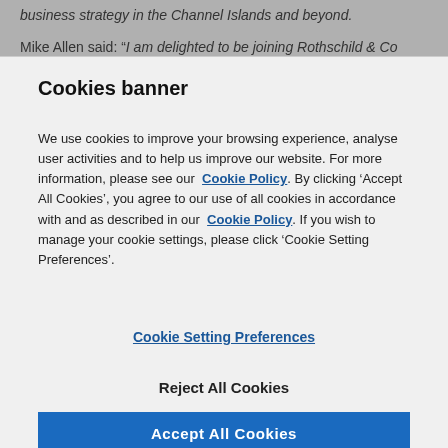business strategy in the Channel Islands and beyond.
Mike Allen said: “I am delighted to be joining Rothschild & Co
Cookies banner
We use cookies to improve your browsing experience, analyse user activities and to help us improve our website. For more information, please see our Cookie Policy. By clicking ‘Accept All Cookies’, you agree to our use of all cookies in accordance with and as described in our Cookie Policy. If you wish to manage your cookie settings, please click ‘Cookie Setting Preferences’.
Cookie Setting Preferences
Reject All Cookies
Accept All Cookies